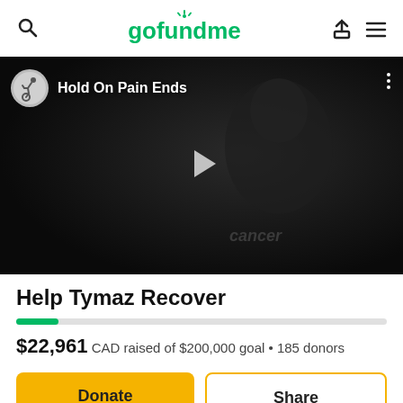gofundme
[Figure (screenshot): Video thumbnail showing a person wearing a black cap and black t-shirt with 'cancer' text, in a dark setting. Overlay shows 'Hold On Pain Ends' channel title with a wheelchair/running icon, play button in center, and three-dot menu icon in top-right.]
Help Tymaz Recover
$22,961 CAD raised of $200,000 goal • 185 donors
Donate
Share